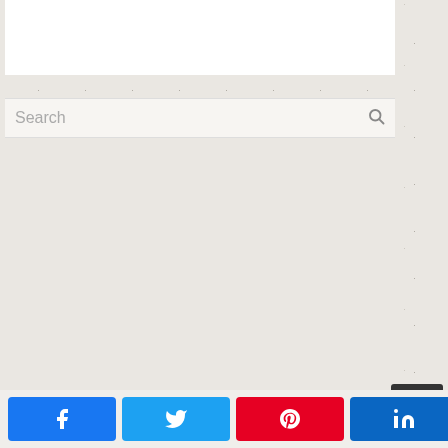[Figure (screenshot): White content panel at top of page, partially visible]
Search
[Figure (screenshot): Textured light gray/beige background area, main content region]
[Figure (infographic): Social share bar with Facebook, Twitter, Pinterest, LinkedIn buttons and share count showing 0 SHARES]